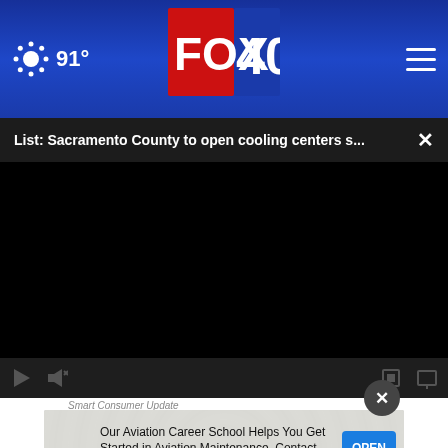91° FOX 40
List: Sacramento County to open cooling centers s... ×
[Figure (screenshot): Black video player area with playback controls at bottom]
Smart Consumer Update
Our Aviation Career School Helps You Get Started in Aviation Maintenance. Contact NM Now.
OPEN